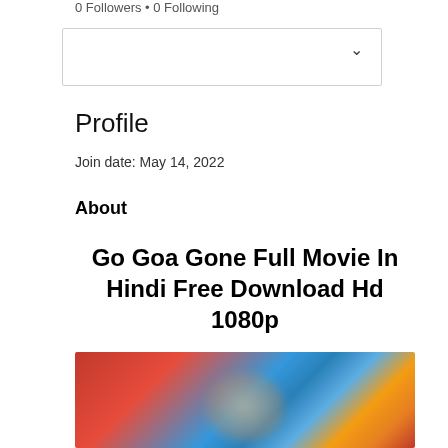0 Followers • 0 Following
[Figure (screenshot): A dropdown/select box UI element with a chevron arrow on the right side]
Profile
Join date: May 14, 2022
About
Go Goa Gone Full Movie In Hindi Free Download Hd 1080p
[Figure (photo): A blurred colorful movie poster image with red, blue, and warm tones, partially visible with a blue circular more options button overlay]